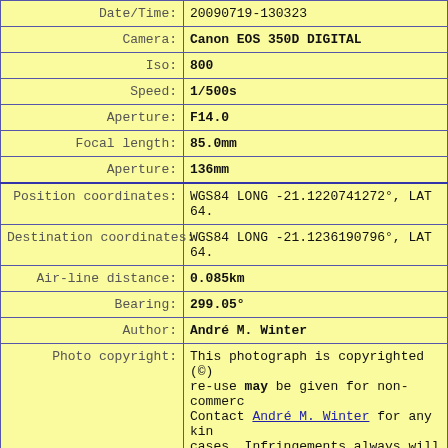| Field | Value |
| --- | --- |
| Date/Time: | 20090719-130323 |
| Camera: | Canon EOS 350D DIGITAL |
| Iso: | 800 |
| Speed: | 1/500s |
| Aperture: | F14.0 |
| Focal length: | 85.0mm |
| Aperture: | 136mm |
| Position coordinates: | WGS84 LONG -21.1220741272°, LAT 64. |
| Destination coordinates: | WGS84 LONG -21.1236190796°, LAT 64. |
| Air-line distance: | 0.085km |
| Bearing: | 299.05° |
| Author: | André M. Winter |
| Photo copyright: | This photograph is copyrighted (©) re-use may be given for non-commerc... Contact André M. Winter for any kin... cases. Infringements always will be... E.U. |
| Text copyright: | Description texts and meta data are... Any re-use requires the URL and the... |
| Link to this page: | link to this page |